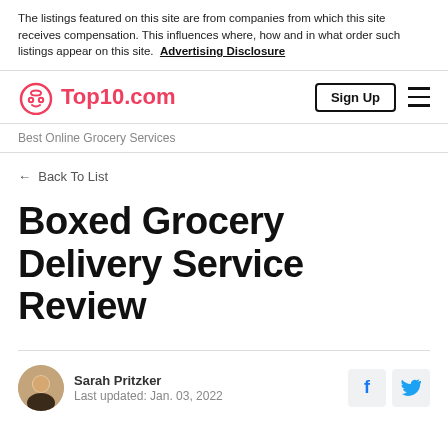The listings featured on this site are from companies from which this site receives compensation. This influences where, how and in what order such listings appear on this site. Advertising Disclosure
[Figure (logo): Top10.com logo with robot/emoji icon in red/pink color]
Sign Up
Best Online Grocery Services
← Back To List
Boxed Grocery Delivery Service Review
Sarah Pritzker
Last updated: Jan. 03, 2022